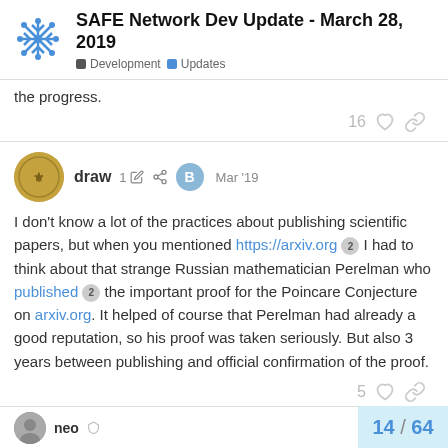SAFE Network Dev Update - March 28, 2019 | Development | Updates
the progress.
16 [likes] [share]
draw 1 [edit] [share] B Mar '19
I don't know a lot of the practices about publishing scientific papers, but when you mentioned https://arxiv.org 2 I had to think about that strange Russian mathematician Perelman who published 2 the important proof for the Poincare Conjecture on arxiv.org. It helped of course that Perelman had already a good reputation, so his proof was taken seriously. But also 3 years between publishing and official confirmation of the proof.
5 [likes] [share]
neo [shield] 14 / 64